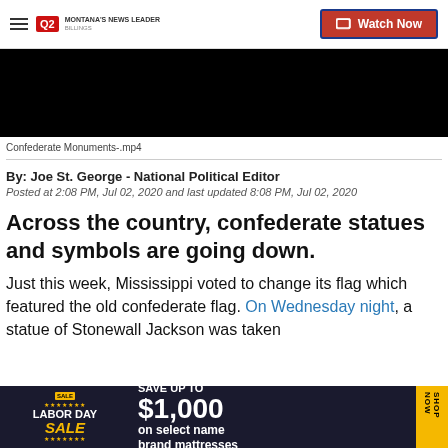Q2 Montana's News Leader | Watch Now
[Figure (screenshot): Black video player thumbnail area]
Confederate Monuments-.mp4
By: Joe St. George - National Political Editor
Posted at 2:08 PM, Jul 02, 2020 and last updated 8:08 PM, Jul 02, 2020
Across the country, confederate statues and symbols are going down.
Just this week, Mississippi voted to change its flag which featured the old confederate flag. On Wednesday night, a statue of Stonewall Jackson was taken
[Figure (screenshot): Advertisement banner: Labor Day Sale - Save up to $1,000 on select name brand mattresses. Shop Now.]